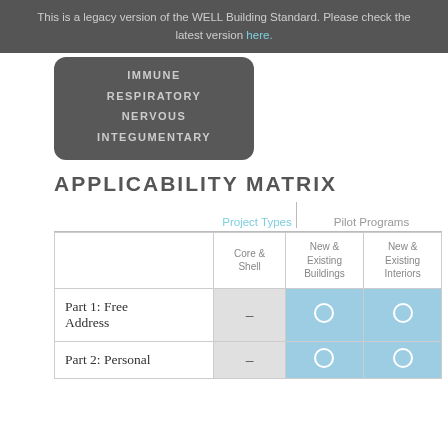This is a legacy version of the WELL Building Standard. Please check the latest version here.
IMMUNE
RESPIRATORY
NERVOUS
INTEGUMENTARY
APPLICABILITY MATRIX
|  | Core & Shell | New & Existing Buildings | New & Existing Interiors |
| --- | --- | --- | --- |
| Part 1: Free Address | - | ○ | ○ |
| Part 2: Personal | - | ○ | ○ |